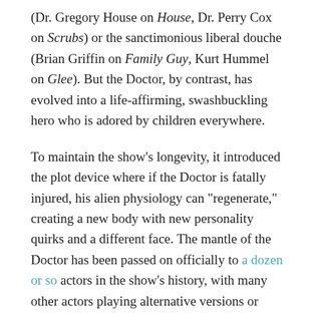(Dr. Gregory House on House, Dr. Perry Cox on Scrubs) or the sanctimonious liberal douche (Brian Griffin on Family Guy, Kurt Hummel on Glee). But the Doctor, by contrast, has evolved into a life-affirming, swashbuckling hero who is adored by children everywhere.
To maintain the show’s longevity, it introduced the plot device where if the Doctor is fatally injured, his alien physiology can “regenerate,” creating a new body with new personality quirks and a different face. The mantle of the Doctor has been passed on officially to a dozen or so actors in the show’s history, with many other actors playing alternative versions or unofficial Doctors over the last half-century. Like no other character on TV, over fifty years we have seen his many sides. He has been a narcissist, a boor, a clown, a grump, a convincing portrayal of a bipolar person (David Tennant, I’m looking at you) and a wide-eyed dreamer. Whatever his face however, the Doctor